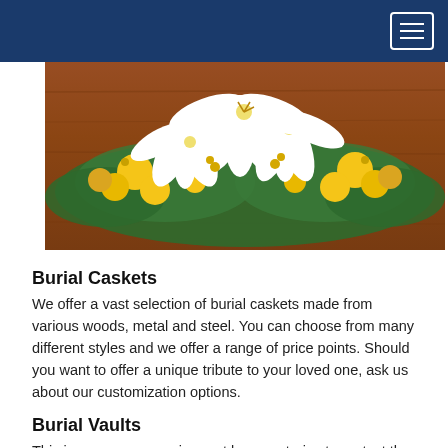[Figure (photo): Floral arrangement of white lilies and yellow flowers on a wooden casket surface]
Burial Caskets
We offer a vast selection of burial caskets made from various woods, metal and steel. You can choose from many different styles and we offer a range of price points. Should you want to offer a unique tribute to your loved one, ask us about our customization options.
Burial Vaults
This is a common requirement by cemeteries to protect the casket and ensure proper grounds maintenance. Today, a lot of families choose to safeguard their loved